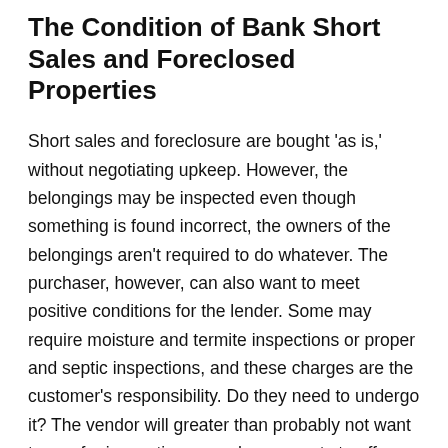The Condition of Bank Short Sales and Foreclosed Properties
Short sales and foreclosure are bought 'as is,' without negotiating upkeep. However, the belongings may be inspected even though something is found incorrect, the owners of the belongings aren't required to do whatever. The purchaser, however, can also want to meet positive conditions for the lender. Some may require moisture and termite inspections or proper and septic inspections, and these charges are the customer's responsibility. Do they need to undergo it? The vendor will greater than probably not want to pay for inspections or enhancements to offer systems.
Some quick sales and foreclosures are in pristine circumstance, whereas others are 'consumer pay attention' because they've repair problems. It simply relies upon the